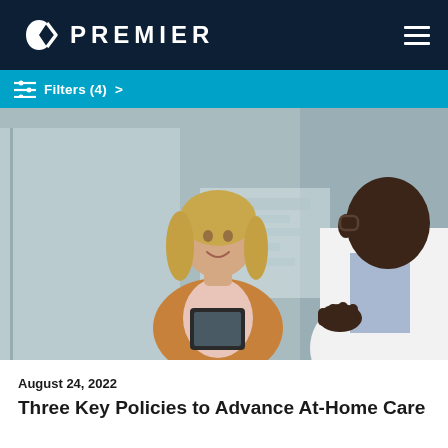PREMIER
Filters (4) >
[Figure (photo): A middle-aged blonde woman smiling and holding a tablet, facing a doctor in a white coat who is gesturing, in an office/clinical setting with glass partitions in the background.]
August 24, 2022
Three Key Policies to Advance At-Home Care